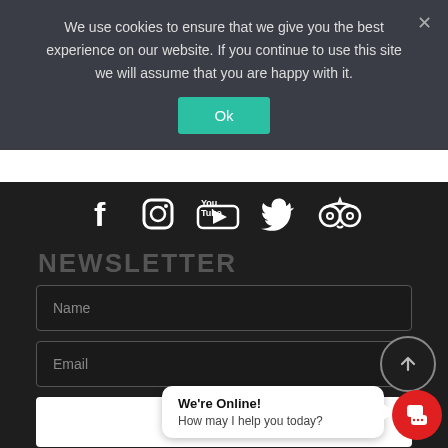We use cookies to ensure that we give you the best experience on our website. If you continue to use this site we will assume that you are happy with it.
Ok
[Figure (infographic): Social media icons row: Facebook, Instagram, YouTube, Twitter, TripAdvisor — white icons on dark background]
NEWSLETTER
Name
Email
Subscribe
We're Online! How may I help you today?